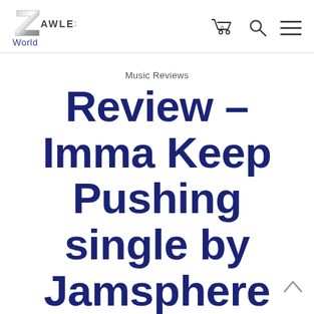Zawles World — navigation header with cart, search, menu icons
Music Reviews
Review – Imma Keep Pushing single by Jamsphere Magazine